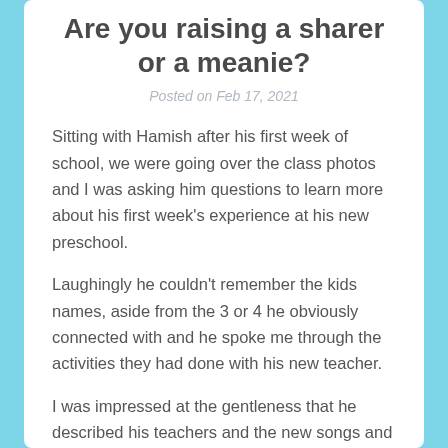Are you raising a sharer or a meanie?
Posted on Feb 17, 2021
Sitting with Hamish after his first week of school, we were going over the class photos and I was asking him questions to learn more about his first week's experience at his new preschool.
Laughingly he couldn't remember the kids names, aside from the 3 or 4 he obviously connected with and he spoke me through the activities they had done with his new teacher.
I was impressed at the gentleness that he described his teachers and the new songs and games he had learnt.